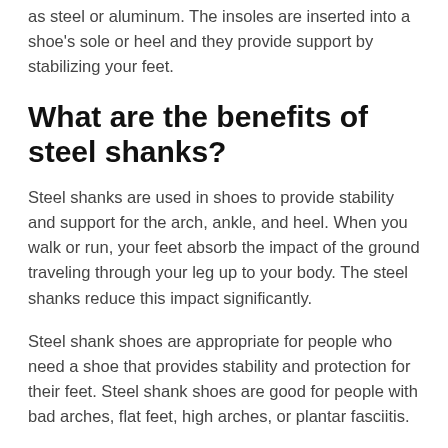Steel shanks are made from tough, lightweight metals such as steel or aluminum. The insoles are inserted into a shoe's sole or heel and they provide support by stabilizing your feet.
What are the benefits of steel shanks?
Steel shanks are used in shoes to provide stability and support for the arch, ankle, and heel. When you walk or run, your feet absorb the impact of the ground traveling through your leg up to your body. The steel shanks reduce this impact significantly.
Steel shank shoes are appropriate for people who need a shoe that provides stability and protection for their feet. Steel shank shoes are good for people with bad arches, flat feet, high arches, or plantar fasciitis.
A 2008 study by Pareek et al reported that steel shank footwear was more effective than textile upper footwear for